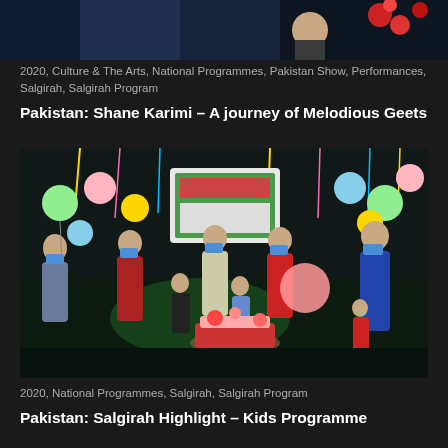[Figure (photo): Partial view of a TV studio or event setting with a person visible and flowers/decorations, cropped at top]
2020, Culture & The Arts, National Programmes, Pakistan Show, Performances, Salgirah, Salgirah Program
Pakistan: Shane Karimi – A journey of Melodious Geets
[Figure (photo): Indoor celebration scene with multiple women and children wearing face masks, colorful balloons decorating the space, a cake on a table, and a screen/banner in the background with Urdu text]
2020, National Programmes, Salgirah, Salgirah Program
Pakistan: Salgirah Highlight – Kids Programme